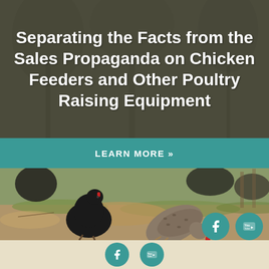Separating the Facts from the Sales Propaganda on Chicken Feeders and Other Poultry Raising Equipment
[Figure (photo): Photograph of chickens outdoors on grass and dirt ground, with a black chicken and a speckled grey-brown chicken in the foreground]
LEARN MORE »
[Figure (infographic): Social media icons: Facebook (f) and YouTube (You/Play) buttons as teal circular icons overlaid on the photo]
Facebook and YouTube social icons in footer